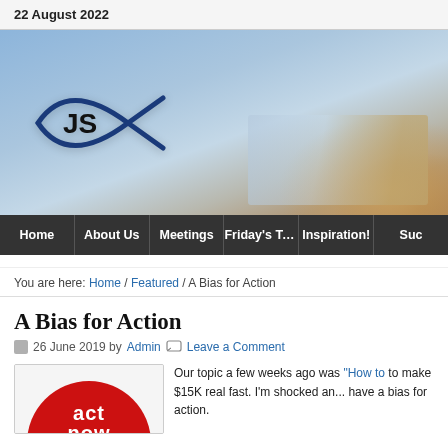22 August 2022
[Figure (photo): Website banner with a JS fish logo on a blue background showing a businessman holding papers]
Home | About Us | Meetings | Friday's Topic | Inspiration! | Suc...
You are here: Home / Featured / A Bias for Action
A Bias for Action
26 June 2019 by Admin   Leave a Comment
[Figure (photo): Red circular button with 'act now' text in white]
Our topic a few weeks ago was "How to..." to make $15K real fast. I'm shocked an... have a bias for action.